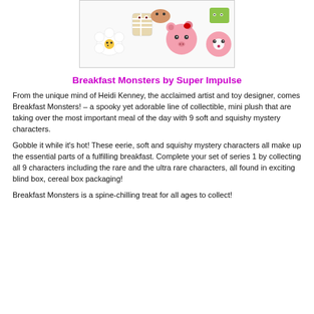[Figure (photo): Photo of Breakfast Monsters collectible mini plush toys — cute cartoon food characters including what appear to be an egg, a mummy cup, a pink pig/ham, a donut, and other breakfast items with googly eyes.]
Breakfast Monsters by Super Impulse
From the unique mind of Heidi Kenney, the acclaimed artist and toy designer, comes Breakfast Monsters! – a spooky yet adorable line of collectible, mini plush that are taking over the most important meal of the day with 9 soft and squishy mystery characters.
Gobble it while it's hot! These eerie, soft and squishy mystery characters all make up the essential parts of a fulfilling breakfast. Complete your set of series 1 by collecting all 9 characters including the rare and the ultra rare characters, all found in exciting blind box, cereal box packaging!
Breakfast Monsters is a spine-chilling treat for all ages to collect!